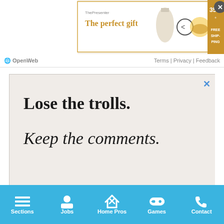[Figure (screenshot): Top banner advertisement for a gifting website showing 'The perfect gift' text in gold with product images and '35% FREE SHIPPING' badge]
OpenWeb   Terms | Privacy | Feedback
[Figure (screenshot): OpenWeb advertisement with light pink background. Text reads: 'Lose the trolls. Keep the comments.' and 'It’s time to save online conversation.' with a 'Learn more' dark button and OpenWeb logo at bottom. Has a blue X close button in top right.]
AdChoices ▷   Sponsored
Sections   Jobs   Home Pros   Games   Contact